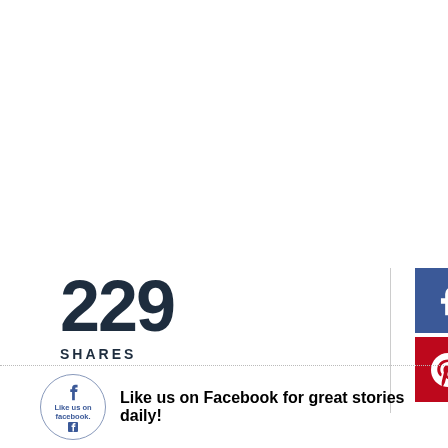229
SHARES
[Figure (infographic): Social share buttons: Facebook (blue), Twitter (light blue), Email (dark gray), Pinterest (red), Plus/More (orange-red)]
Like us on Facebook for great stories daily!